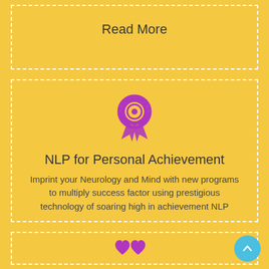Read More
[Figure (illustration): Purple award medal / ribbon icon]
NLP for Personal Achievement
Imprint your Neurology and Mind with new programs to multiply success factor using prestigious technology of soaring high in achievement NLP
Read More
[Figure (illustration): Partial purple hearts icon at the bottom of the page]
[Figure (illustration): Blue circular scroll-to-top button with chevron up icon]